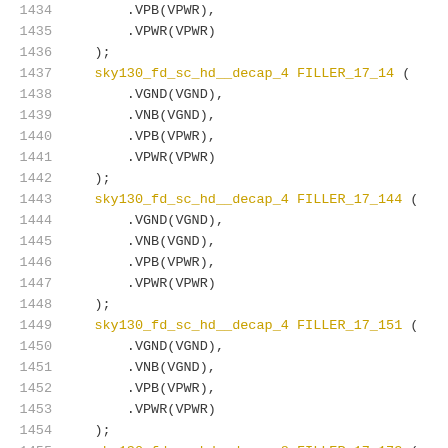1434        .VPB(VPWR),
1435        .VPWR(VPWR)
1436    );
1437    sky130_fd_sc_hd__decap_4 FILLER_17_14 (
1438        .VGND(VGND),
1439        .VNB(VGND),
1440        .VPB(VPWR),
1441        .VPWR(VPWR)
1442    );
1443    sky130_fd_sc_hd__decap_4 FILLER_17_144 (
1444        .VGND(VGND),
1445        .VNB(VGND),
1446        .VPB(VPWR),
1447        .VPWR(VPWR)
1448    );
1449    sky130_fd_sc_hd__decap_4 FILLER_17_151 (
1450        .VGND(VGND),
1451        .VNB(VGND),
1452        .VPB(VPWR),
1453        .VPWR(VPWR)
1454    );
1455    sky130_fd_sc_hd__decap_8 FILLER_17_173 (